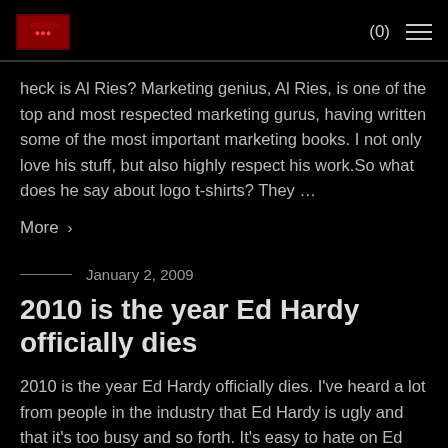(0) ☰
heck is Al Ries? Marketing genius, Al Ries, is one of the top and most respected marketing gurus, having written some of the most important marketing books. I not only love his stuff, but also highly respect his work.So what does he say about logo t-shirts? They …
More ›
January 2, 2009
2010 is the year Ed Hardy officially dies
2010 is the year Ed Hardy officially dies. I've heard a lot from people in the industry that Ed Hardy is ugly and that it's too busy and so forth. It's easy to hate on Ed Hardy but